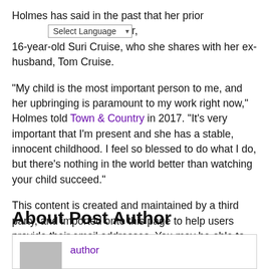Holmes has said in the past that her priority is her daughter, 16-year-old Suri Cruise, who she shares with her ex-husband, Tom Cruise.
"My child is the most important person to me, and her upbringing is paramount to my work right now," Holmes told Town & Country in 2017. "It's very important that I'm present and she has a stable, innocent childhood. I feel so blessed to do what I do, but there's nothing in the world better than watching your child succeed."
This content is created and maintained by a third party, and imported onto this page to help users provide their email addresses. You may be able to find more information about this and similar content at piano.io
About Post Author